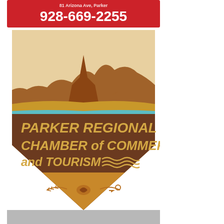[Figure (logo): Red banner advertisement with phone number 928-669-2255 and address text '81 Arizona Ave, Parker']
[Figure (logo): Parker Regional Chamber of Commerce and Tourism logo - shield/badge shape with desert mesa landscape at top in brown and gold tones, teal water line dividing landscape from brown lower section with gold text 'PARKER REGIONAL CHAMBER of COMMERCE and TOURISM' with wavy water lines, and golden diamond bottom with sun/key emblem]
[Figure (photo): Partial gray/silver image at bottom of page, content not fully visible]